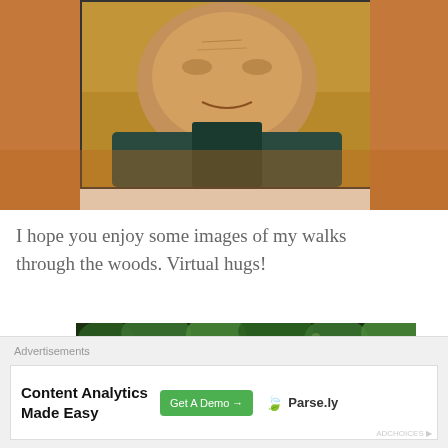[Figure (photo): Close-up photo of an elderly person's face smiling, wearing a dark jacket, with a warm orange/brown background and trees/sky visible. The photo is framed with a border against an orange-brown background.]
I hope you enjoy some images of my walks through the woods. Virtual hugs!
[Figure (photo): Partial photo showing dense green foliage and leaves, dark forest scene.]
Advertisements
Content Analytics Made Easy
Get A Demo →
Parse.ly